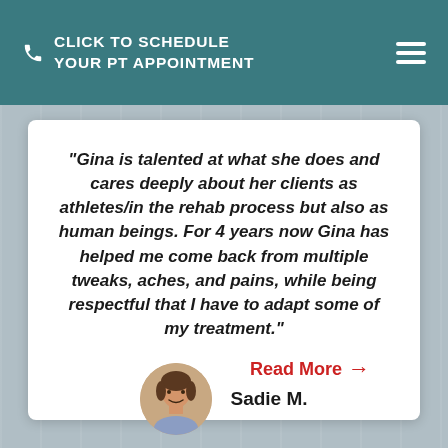CLICK TO SCHEDULE YOUR PT APPOINTMENT
"Gina is talented at what she does and cares deeply about her clients as athletes/in the rehab process but also as human beings. For 4 years now Gina has helped me come back from multiple tweaks, aches, and pains, while being respectful that I have to adapt some of my treatment."
Sadie M.
Read More →